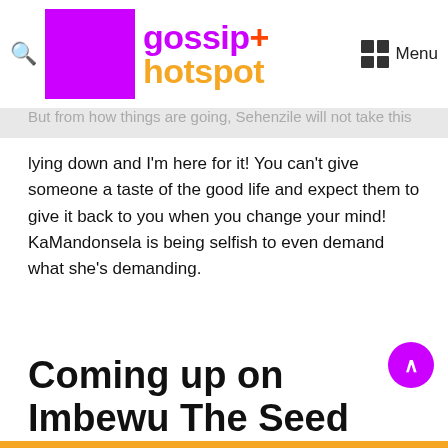gossip+ hotspot [nav bar with search icon and Menu]
But from how things are going, Sehenzile will not take this lying down and I'm here for it! You can't give someone a taste of the good life and expect them to give it back to you when you change your mind! KaMandonsela is being selfish to even demand what she's demanding.
Coming up on Imbewu The Seed